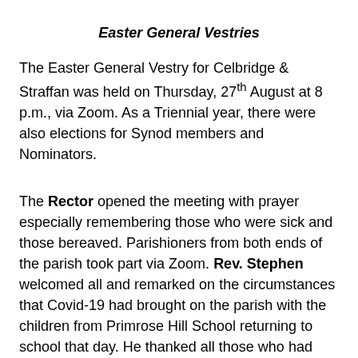Easter General Vestries
The Easter General Vestry for Celbridge & Straffan was held on Thursday, 27th August at 8 p.m., via Zoom. As a Triennial year, there were also elections for Synod members and Nominators.
The Rector opened the meeting with prayer especially remembering those who were sick and those bereaved. Parishioners from both ends of the parish took part via Zoom. Rev. Stephen welcomed all and remarked on the circumstances that Covid-19 had brought on the parish with the children from Primrose Hill School returning to school that day. He thanked all those who had served on the Select Vestry especially John Lougheed as Honorary Secretary for his preparation for the meeting and all his administration and Gordon Bass for the increasingly demanding job of managing the finances as Honorary Treasurer. He also